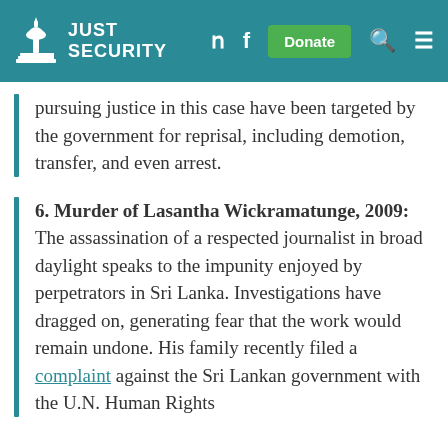JUST SECURITY
pursuing justice in this case have been targeted by the government for reprisal, including demotion, transfer, and even arrest.
6. Murder of Lasantha Wickramatunge, 2009: The assassination of a respected journalist in broad daylight speaks to the impunity enjoyed by perpetrators in Sri Lanka. Investigations have dragged on, generating fear that the work would remain undone. His family recently filed a complaint against the Sri Lankan government with the U.N. Human Rights